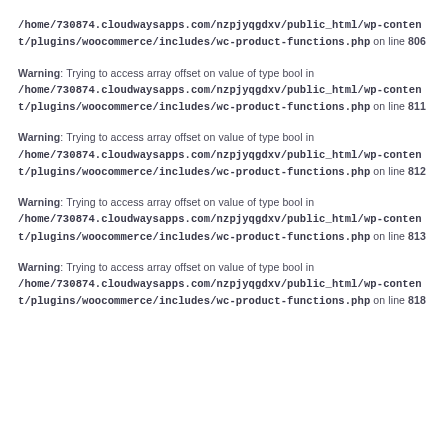/home/730874.cloudwaysapps.com/nzpjyqgdxv/public_html/wp-content/plugins/woocommerce/includes/wc-product-functions.php on line 806
Warning: Trying to access array offset on value of type bool in /home/730874.cloudwaysapps.com/nzpjyqgdxv/public_html/wp-content/plugins/woocommerce/includes/wc-product-functions.php on line 811
Warning: Trying to access array offset on value of type bool in /home/730874.cloudwaysapps.com/nzpjyqgdxv/public_html/wp-content/plugins/woocommerce/includes/wc-product-functions.php on line 812
Warning: Trying to access array offset on value of type bool in /home/730874.cloudwaysapps.com/nzpjyqgdxv/public_html/wp-content/plugins/woocommerce/includes/wc-product-functions.php on line 813
Warning: Trying to access array offset on value of type bool in /home/730874.cloudwaysapps.com/nzpjyqgdxv/public_html/wp-content/plugins/woocommerce/includes/wc-product-functions.php on line 818